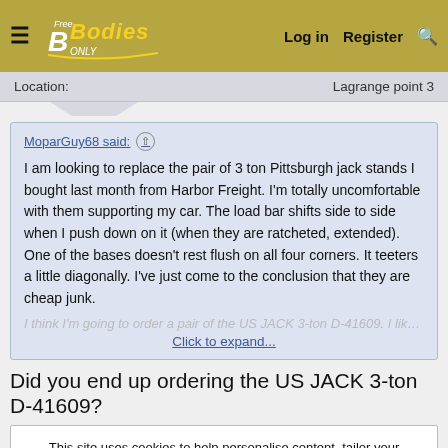Free B Bodies Only | Log in | Register
Location: Lagrange point 3
MoparGuy68 said: ↑
I am looking to replace the pair of 3 ton Pittsburgh jack stands I bought last month from Harbor Freight. I'm totally uncomfortable with them supporting my car. The load bar shifts side to side when I push down on it (when they are ratcheted, extended). One of the bases doesn't rest flush on all four corners. It teeters a little diagonally. I've just come to the conclusion that they are cheap junk.
Click to expand...
Did you end up ordering the US JACK 3-ton D-41609?
This site uses cookies to help personalise content, tailor your experience and to keep you logged in if you register.
By continuing to use this site, you are consenting to our use of cookies.